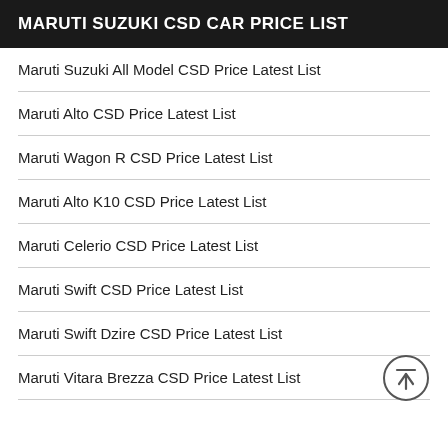MARUTI SUZUKI CSD CAR PRICE LIST
Maruti Suzuki All Model CSD Price Latest List
Maruti Alto CSD Price Latest List
Maruti Wagon R CSD Price Latest List
Maruti Alto K10 CSD Price Latest List
Maruti Celerio CSD Price Latest List
Maruti Swift CSD Price Latest List
Maruti Swift Dzire CSD Price Latest List
Maruti Vitara Brezza CSD Price Latest List